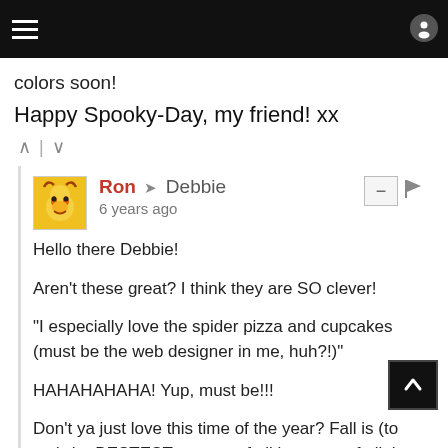colors soon!
Happy Spooky-Day, my friend! xx
Ron → Debbie
6 years ago

Hello there Debbie!

Aren't these great? I think they are SO clever!

"I especially love the spider pizza and cupcakes (must be the web designer in me, huh?!)"

HAHAHAHAHA! Yup, must be!!!

Don't ya just love this time of the year? Fall is (to me) the BESTEST season of all because of all the beautiful color it brings. Also, the Fall clothing, foods, and weather.

Thanks so much for stopping by, my friend! Have a spooktacular Halloween!